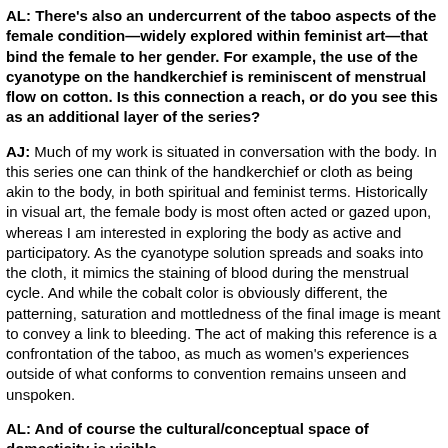AL: There's also an undercurrent of the taboo aspects of the female condition—widely explored within feminist art—that bind the female to her gender. For example, the use of the cyanotype on the handkerchief is reminiscent of menstrual flow on cotton. Is this connection a reach, or do you see this as an additional layer of the series?
AJ: Much of my work is situated in conversation with the body. In this series one can think of the handkerchief or cloth as being akin to the body, in both spiritual and feminist terms. Historically in visual art, the female body is most often acted or gazed upon, whereas I am interested in exploring the body as active and participatory. As the cyanotype solution spreads and soaks into the cloth, it mimics the staining of blood during the menstrual cycle. And while the cobalt color is obviously different, the patterning, saturation and mottledness of the final image is meant to convey a link to bleeding. The act of making this reference is a confrontation of the taboo, as much as women's experiences outside of what conforms to convention remains unseen and unspoken.
AL: And of course the cultural/conceptual space of domesticity is visible.